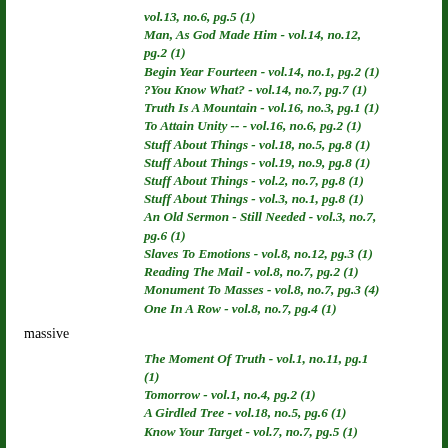vol.13, no.6, pg.5 (1)
Man, As God Made Him - vol.14, no.12, pg.2 (1)
Begin Year Fourteen - vol.14, no.1, pg.2 (1)
?You Know What? - vol.14, no.7, pg.7 (1)
Truth Is A Mountain - vol.16, no.3, pg.1 (1)
To Attain Unity -- - vol.16, no.6, pg.2 (1)
Stuff About Things - vol.18, no.5, pg.8 (1)
Stuff About Things - vol.19, no.9, pg.8 (1)
Stuff About Things - vol.2, no.7, pg.8 (1)
Stuff About Things - vol.3, no.1, pg.8 (1)
An Old Sermon - Still Needed - vol.3, no.7, pg.6 (1)
Slaves To Emotions - vol.8, no.12, pg.3 (1)
Reading The Mail - vol.8, no.7, pg.2 (1)
Monument To Masses - vol.8, no.7, pg.3 (4)
One In A Row - vol.8, no.7, pg.4 (1)
massive
The Moment Of Truth - vol.1, no.11, pg.1 (1)
Tomorrow - vol.1, no.4, pg.2 (1)
A Girdled Tree - vol.18, no.5, pg.6 (1)
Know Your Target - vol.7, no.7, pg.5 (1)